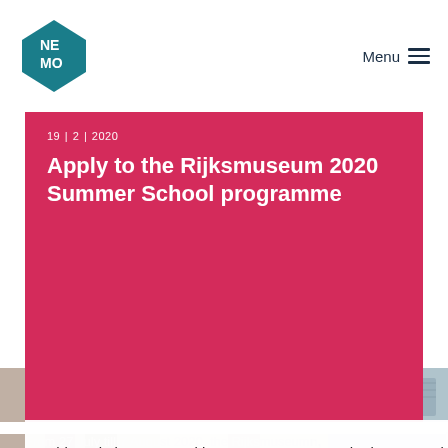[Figure (logo): NEMO museum logo — diamond/pentagon shape in teal with white NE MO letters]
Menu ≡
19 | 2 | 2020
Apply to the Rijksmuseum 2020 Summer School programme
From 27 July till 7 August 2020, the Rijksmuseum, the University of Amsterdam and Bard Graduate Center (New York City) will offer... Training
This website uses cookies to ensure you get the best experience on our website.
Learn more
OK
[Figure (photo): Bottom strip showing people in an educational/museum setting]